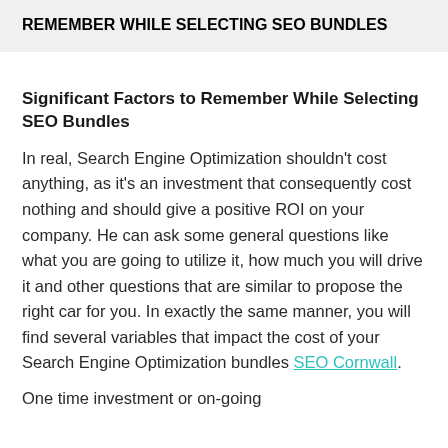REMEMBER WHILE SELECTING SEO BUNDLES
Significant Factors to Remember While Selecting SEO Bundles
In real, Search Engine Optimization shouldn't cost anything, as it's an investment that consequently cost nothing and should give a positive ROI on your company. He can ask some general questions like what you are going to utilize it, how much you will drive it and other questions that are similar to propose the right car for you. In exactly the same manner, you will find several variables that impact the cost of your Search Engine Optimization bundles SEO Cornwall.
One time investment or on-going